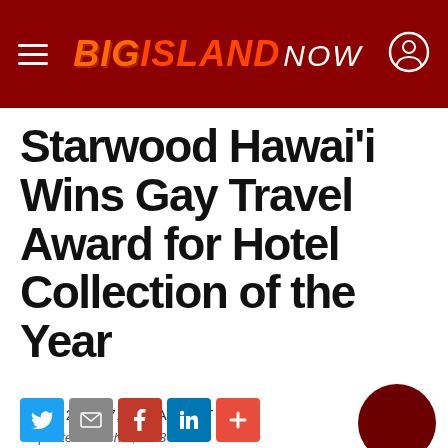BIG ISLAND NOW
Starwood Hawaiʻi Wins Gay Travel Award for Hotel Collection of the Year
March 2, 2017, 9:09 AM HST
* Updated March 2, 9:13 AM